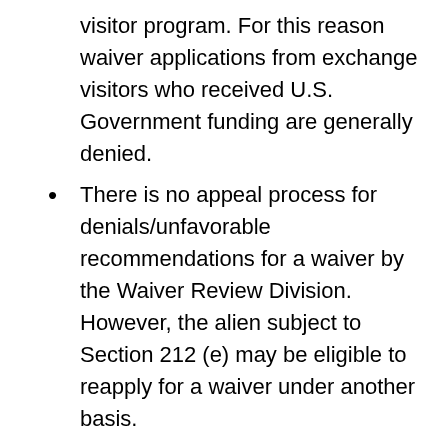visitor program. For this reason waiver applications from exchange visitors who received U.S. Government funding are generally denied.
There is no appeal process for denials/unfavorable recommendations for a waiver by the Waiver Review Division. However, the alien subject to Section 212 (e) may be eligible to reapply for a waiver under another basis.
If a J waiver applicant has new information that may affect his or her eligibility for a waiver recommendation